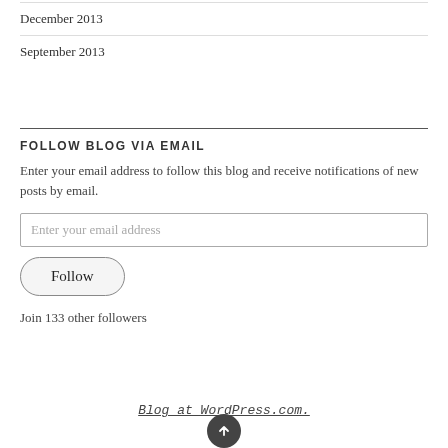December 2013
September 2013
FOLLOW BLOG VIA EMAIL
Enter your email address to follow this blog and receive notifications of new posts by email.
Enter your email address
Follow
Join 133 other followers
Blog at WordPress.com.